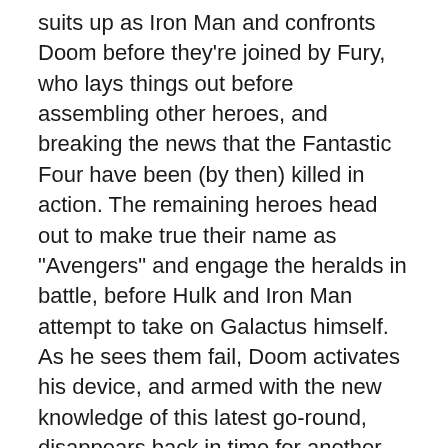suits up as Iron Man and confronts Doom before they're joined by Fury, who lays things out before assembling other heroes, and breaking the news that the Fantastic Four have been (by then) killed in action. The remaining heroes head out to make true their name as "Avengers" and engage the heralds in battle, before Hulk and Iron Man attempt to take on Galactus himself. As he sees them fail, Doom activates his device, and armed with the new knowledge of this latest go-round, disappears back in time for another attempt at stopping Earth's destruction.
As said, this issue feels the least connected to the overall story/pattern. Doom is there, and we have reference to stuff, but that's almost incidental. This feels like it probably could read pretty well without the first two chapters, and only earlier issues of this very series (Iron Man) for context. I both like that and yet don't at the same time. The